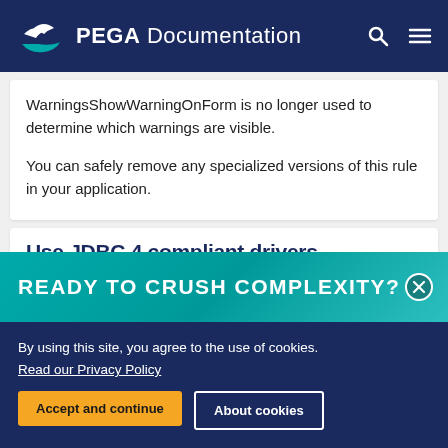PEGA Documentation
WarningsShowWarningOnForm is no longer used to determine which warnings are visible.

You can safely remove any specialized versions of this rule in your application.
Use JDBC 4 compliant drivers
READY TO CRUSH COMPLEXITY?
By using this site, you agree to the use of cookies.
Read our Privacy Policy
Accept and continue
About cookies